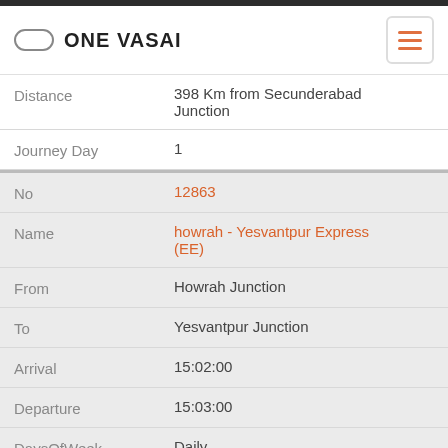ONE VASAI
| Field | Value |
| --- | --- |
| Distance | 398 Km from Secunderabad Junction |
| Journey Day | 1 |
| No | 12863 |
| Name | howrah - Yesvantpur Express (EE) |
| From | Howrah Junction |
| To | Yesvantpur Junction |
| Arrival | 15:02:00 |
| Departure | 15:03:00 |
| DaysOfWeek | Daily |
| Halt Time | 1 Min |
| Distance | 1173 Km from Howrah |